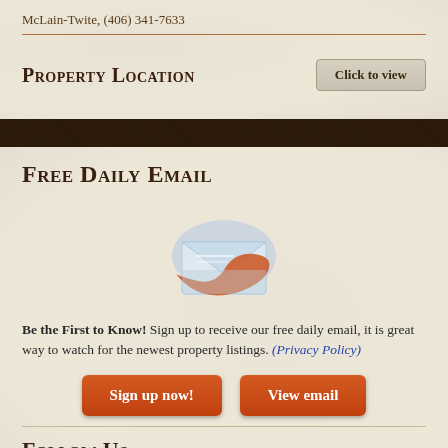McLain-Twite, (406) 341-7633
Property Location
Free Daily Email
[Figure (illustration): Email envelope icon with orange swoosh, suggesting email signup]
Be the First to Know! Sign up to receive our free daily email, it is great way to watch for the newest property listings. (Privacy Policy)
Sign up now!
View email
Follow Us